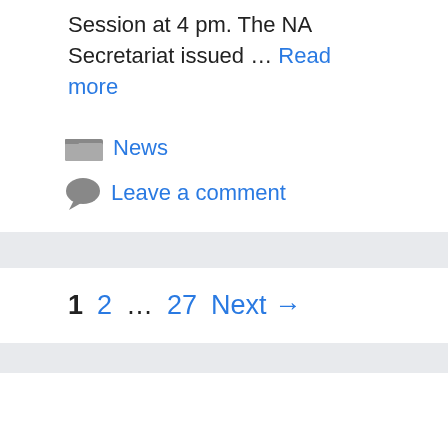Session at 4 pm. The NA Secretariat issued … Read more
News
Leave a comment
1 2 … 27 Next →
Categories